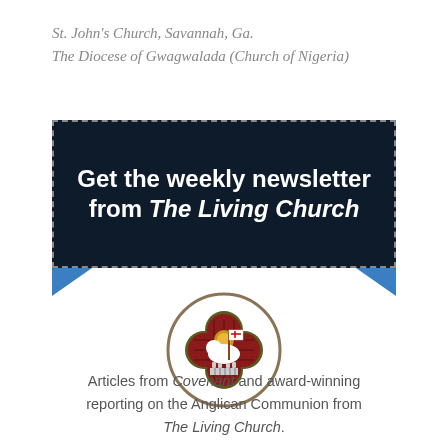St. John's Church, Savannah, Ga.
The Diocese of Gwagwalada (Church of Nigeria)
[Figure (infographic): Dark navy banner with dashed border: 'Get the weekly newsletter from The Living Church' in bold white text, with blue decorative triangles at the lower corners]
[Figure (logo): The Living Church emblem: a quatrefoil shaped medallion with dark maroon/red stained glass background, featuring a white lamb of God with a golden halo carrying a white banner/flag with a red cross, resting on a striped base, bordered in dark olive/gold]
Articles from Covenant and award-winning reporting on the Anglican Communion from The Living Church.